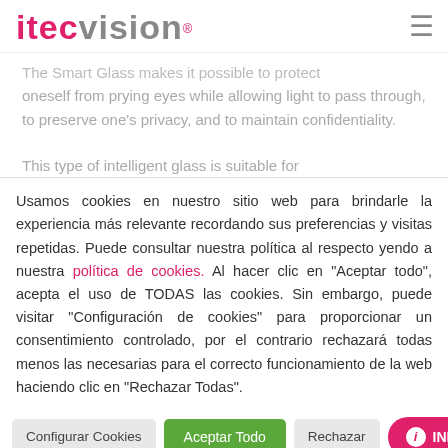itecvision® ≡
The Smart Glass makes it possible to protect oneself from prying eyes while allowing light to pass through, to preserve one's privacy, and to maintain confidentiality.

This type of intelligent glass is suitable for
Usamos cookies en nuestro sitio web para brindarle la experiencia más relevante recordando sus preferencias y visitas repetidas. Puede consultar nuestra política al respecto yendo a nuestra política de cookies. Al hacer clic en "Aceptar todo", acepta el uso de TODAS las cookies. Sin embargo, puede visitar "Configuración de cookies" para proporcionar un consentimiento controlado, por el contrario rechazará todas menos las necesarias para el correcto funcionamiento de la web haciendo clic en "Rechazar Todas".
Configurar Cookies | Aceptar Todo | Rechazar | INFO